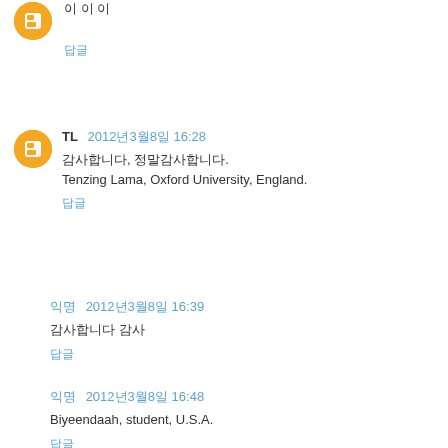이 이 이
답글
TL  2012년3월8일 16:28
감사합니다, 정말감사합니다.
Tenzing Lama, Oxford University, England.
답글
익명  2012년3월8일 16:39
감사합니다 감사
답글
익명  2012년3월8일 16:48
Biyeendaah, student, U.S.A.
답글